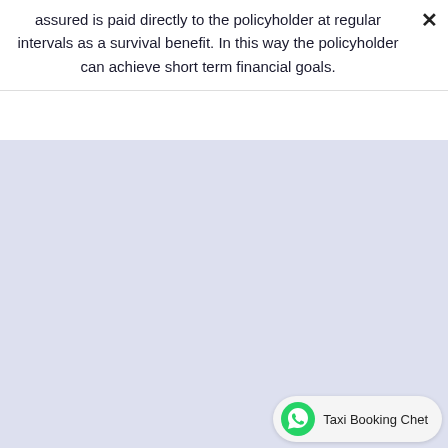assured is paid directly to the policyholder at regular intervals as a survival benefit. In this way the policyholder can achieve short term financial goals.
[Figure (other): Large light lavender/blue-grey blank content area, likely a modal or popup background with no visible content]
Taxi Booking Chet